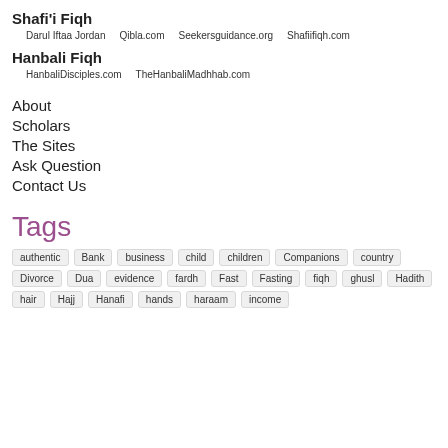Shafi'i Fiqh
Darul Iftaa Jordan    Qibla.com    Seekersguidance.org    Shafiifiqh.com
Hanbali Fiqh
HanbaliDisciples.com    TheHanbaliMadhhab.com
About
Scholars
The Sites
Ask Question
Contact Us
Tags
authentic
Bank
business
child
children
Companions
country
Divorce
Dua
evidence
fardh
Fast
Fasting
fiqh
ghusl
Hadith
hair
Hajj
Hanafi
hands
haraam
income